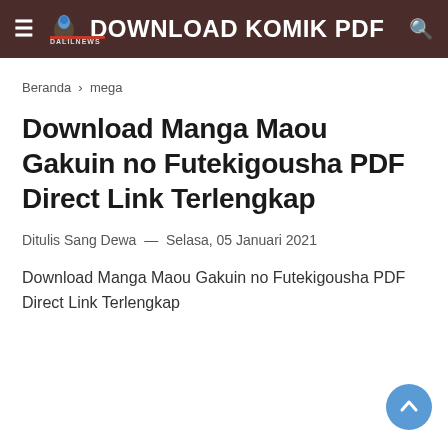DOWNLOAD KOMIK PDF
Beranda › mega
Download Manga Maou Gakuin no Futekigousha PDF Direct Link Terlengkap
Ditulis Sang Dewa — Selasa, 05 Januari 2021
Download Manga Maou Gakuin no Futekigousha PDF Direct Link Terlengkap